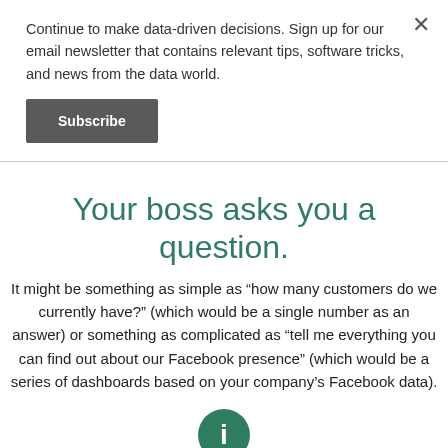Continue to make data-driven decisions. Sign up for our email newsletter that contains relevant tips, software tricks, and news from the data world.
Subscribe
Your boss asks you a question.
It might be something as simple as “how many customers do we currently have?” (which would be a single number as an answer) or something as complicated as “tell me everything you can find out about our Facebook presence” (which would be a series of dashboards based on your company’s Facebook data).
[Figure (illustration): Green circular info icon with a lowercase letter i in white]
Get the data you need to answer the